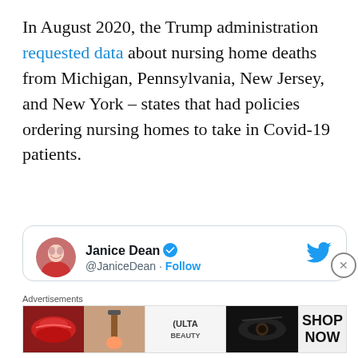In August 2020, the Trump administration requested data about nursing home deaths from Michigan, Pennsylvania, New Jersey, and New York – states that had policies ordering nursing homes to take in Covid-19 patients.
[Figure (screenshot): Embedded tweet from @JaniceDean with Twitter bird logo, verified badge, Follow button, and partial tweet text: 'A terrible day for thousands of families. In a letter to @SteveScalise, @TheJusticeDept wrote that they were dropping the nursing home...']
Advertisements
[Figure (photo): Ulta Beauty advertisement banner showing makeup images (lips, brush, eye) and SHOP NOW call to action]